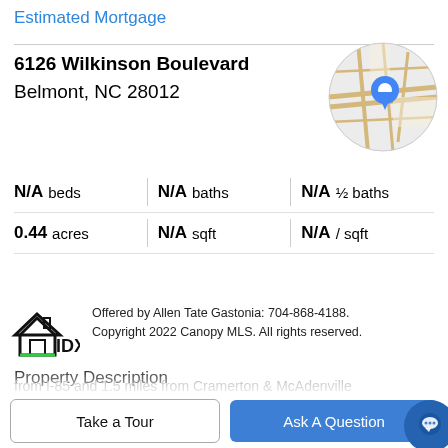Estimated Mortgage
6126 Wilkinson Boulevard
Belmont, NC 28012
[Figure (map): Circular map thumbnail showing a location pin on a street map near Belmont, NC]
| N/A beds | N/A baths | N/A ½ baths |
| 0.44 acres | N/A sqft | N/A / sqft |
[Figure (logo): IDX logo with house icon and 'IDX' text]
Offered by Allen Tate Gastonia: 704-868-4188. Copyright 2022 Canopy MLS. All rights reserved.
Property Description
Incredible Belmont location! Commercial property on HWY 74/HWY 29 with 100 feet of road frontage. ONLY 1 mile from I-85 and 1.5 miles from Cramerton & McAdenville